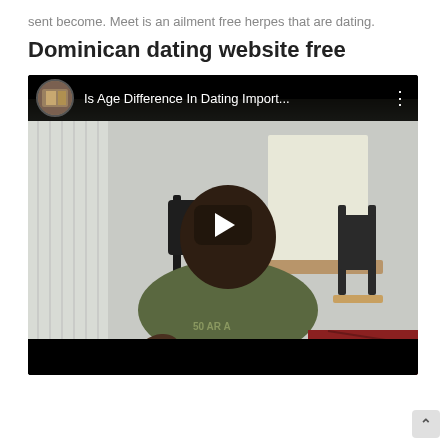sent become. Meet is an ailment free herpes that are dating.
Dominican dating website free
[Figure (screenshot): Embedded YouTube video screenshot showing a man in a green t-shirt seated in a room with chairs and a desk. The video title bar reads 'Is Age Difference In Dating Import...' with a circular thumbnail. A play button is visible in the center of the video.]